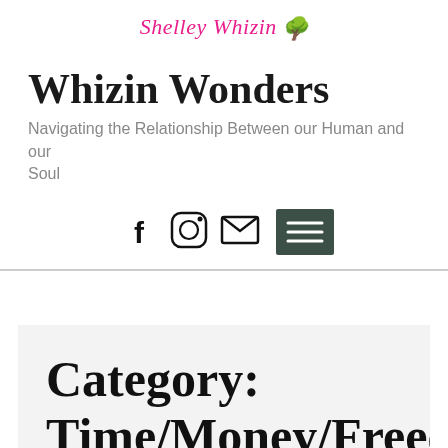Shelley Whizin
Whizin Wonders
Navigating the Relationship Between our Human and our Soul
[Figure (infographic): Navigation icons: Facebook, Instagram, email, and hamburger menu button on dark green background]
Category: Time/Money/Freedom